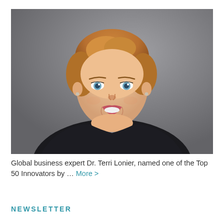[Figure (photo): Professional headshot of Dr. Terri Lonier, a woman with short auburn/blonde hair, blue eyes, smiling, wearing a dark blazer over a grey top, against a grey studio background.]
Global business expert Dr. Terri Lonier, named one of the Top 50 Innovators by … More >
NEWSLETTER